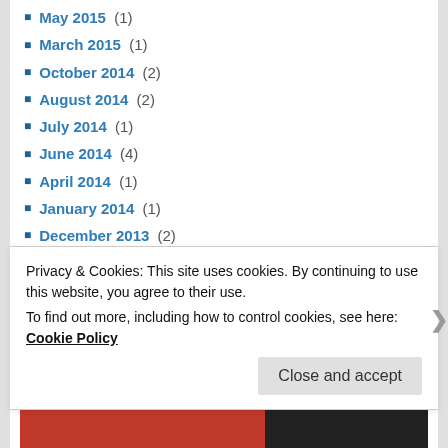May 2015 (1)
March 2015 (1)
October 2014 (2)
August 2014 (2)
July 2014 (1)
June 2014 (4)
April 2014 (1)
January 2014 (1)
December 2013 (2)
November 2013 (2)
October 2013 (1)
September 2013 (2)
August 2013 (3)
July 2013 (1)
June 2013 (2)
Privacy & Cookies: This site uses cookies. By continuing to use this website, you agree to their use. To find out more, including how to control cookies, see here: Cookie Policy